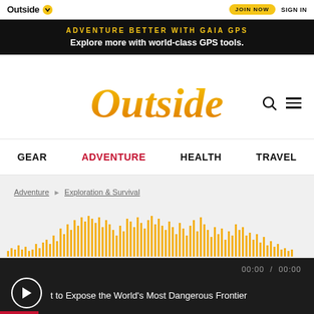Outside | JOIN NOW | SIGN IN
ADVENTURE BETTER WITH GAIA GPS
Explore more with world-class GPS tools.
[Figure (logo): Outside magazine logo in large golden italic serif font with search and hamburger menu icons]
GEAR   ADVENTURE   HEALTH   TRAVEL
Adventure > Exploration & Survival
[Figure (other): Audio waveform visualization in golden/amber color on light gray background]
00:00  /  00:00
t to Expose the World's Most Dangerous Frontier